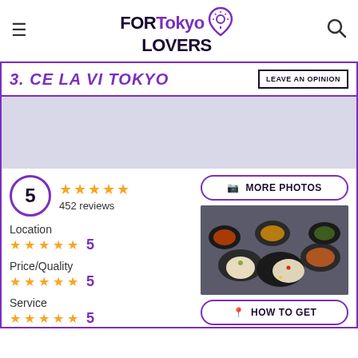FOR Tokyo LOVERS
3. CE LA VI TOKYO
LEAVE AN OPINION
[Figure (photo): Gray placeholder image area]
5 — 452 reviews (5 stars rating)
Location — 5 stars — 5
Price/Quality — 5 stars — 5
Service — 5 stars — 5
MORE PHOTOS
[Figure (photo): Food photo showing various Asian dishes in black bowls with bao buns on a dark stone surface]
HOW TO GET